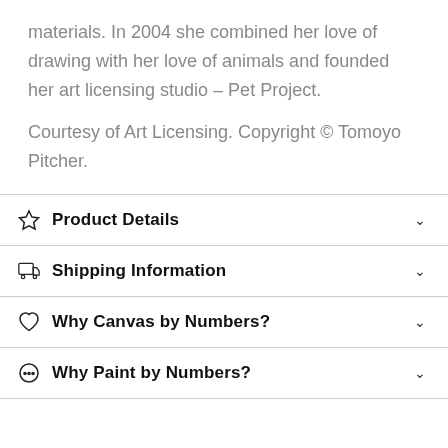materials. In 2004 she combined her love of drawing with her love of animals and founded her art licensing studio – Pet Project.
Courtesy of Art Licensing. Copyright © Tomoyo Pitcher.
Product Details
Shipping Information
Why Canvas by Numbers?
Why Paint by Numbers?